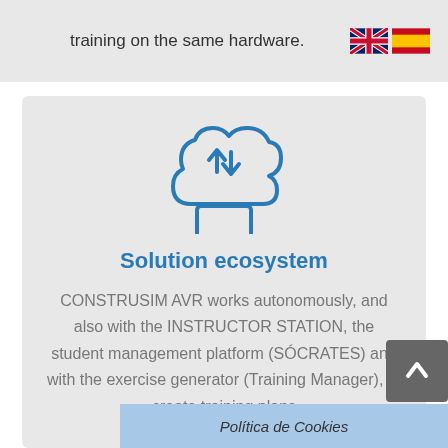training on the same hardware.
[Figure (illustration): Cloud icon with upload/download arrows and a monitor screen below, in blue outline style]
Solution ecosystem
CONSTRUSIM AVR works autonomously, and also with the INSTRUCTOR STATION, the student management platform (SÓCRATES) and with the exercise generator (Training Manager), to create training plans
[Figure (other): Política de Cookies button/overlay]
[Figure (other): Back to top arrow button]